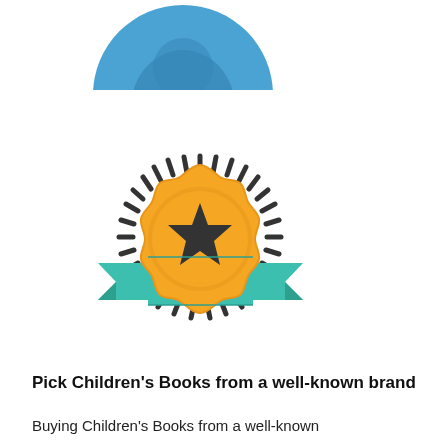[Figure (illustration): Partial blue circle icon at top, cropped at top edge]
[Figure (illustration): Award badge icon: gold scalloped medal with a dark star in center, overlaid with a teal/green ribbon banner, surrounded by dashed radiating lines]
Pick Children's Books from a well-known brand
Buying Children's Books from a well-known